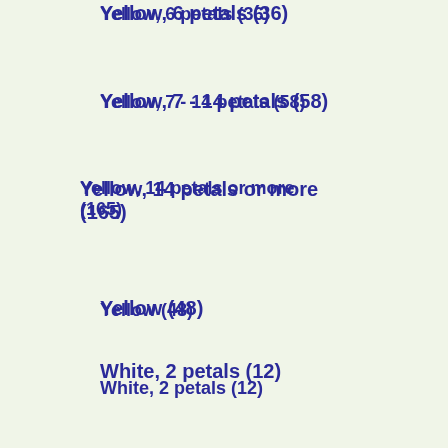Yellow, 6 petals (36)
Yellow, 7 - 14 petals (58)
Yellow, 14 petals or more (165)
Yellow (48)
White, 2 petals (12)
White, 3 petals (10)
White, 4 petals (70)
White, 5 petals (307)
Gaultheria ca... H:3 cm
Viola phil... H:5 cm
ZZzz sp. # H:10 cm